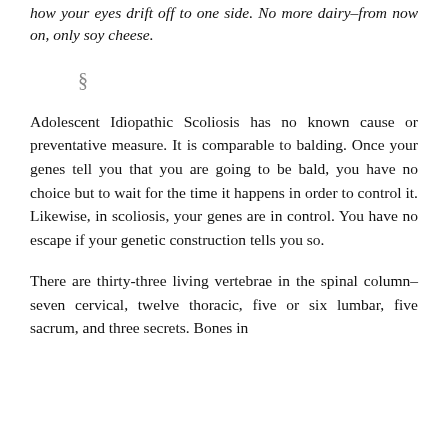how your eyes drift off to one side. No more dairy–from now on, only soy cheese.
§
Adolescent Idiopathic Scoliosis has no known cause or preventative measure. It is comparable to balding. Once your genes tell you that you are going to be bald, you have no choice but to wait for the time it happens in order to control it. Likewise, in scoliosis, your genes are in control. You have no escape if your genetic construction tells you so.
There are thirty-three living vertebrae in the spinal column–seven cervical, twelve thoracic, five or six lumbar, five sacrum, and three secrets. Bones in